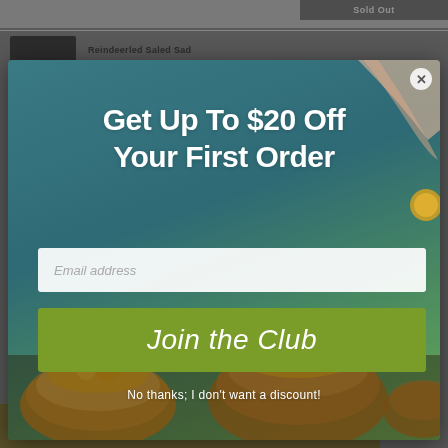[Figure (screenshot): E-commerce website background showing a 'Sold Out' button in the top right and a product thumbnail strip below.]
[Figure (photo): Popup modal overlay with teal/blue-green background photograph showing wooden bowls filled with food and a hand holding a coin. Contains promotional offer text, email input field, 'Join the Club' button, and 'No thanks' dismiss link.]
Get Up To $20 Off Your First Order
Email address
Join the Club
No thanks; I don't want a discount!